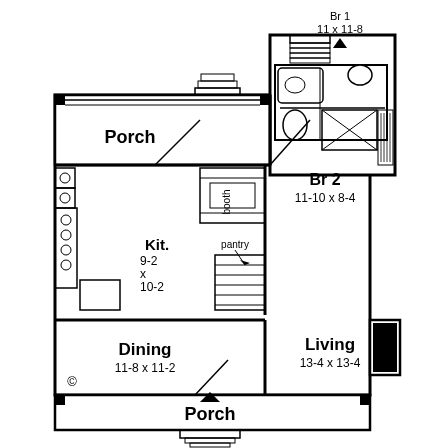[Figure (schematic): Residential house floor plan showing: Porch (upper left), Kit. 9-2 x 10-2 with booth and pantry, Br 2 (11-10 x 8-4) with bathroom fixtures, Dining 11-8 x 11-2, Living 13-4 x 13-4, front Porch, and upper bedroom 11 x 11-8. Includes entry arrows, copyright symbol, stairs, and architectural details.]